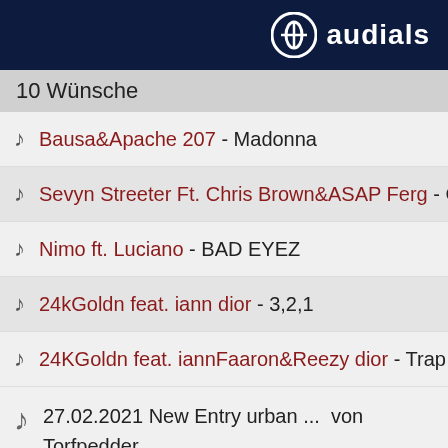audials
10 Wünsche
Bausa&Apache 207 - Madonna
Sevyn Streeter Ft. Chris Brown&ASAP Ferg - Guil
Nimo ft. Luciano - BAD EYEZ
24kGoldn feat. iann dior - 3,2,1
24KGoldn feat. iannFaaron&Reezy dior - Trap Bi
27.02.2021 New Entry urban ...  von Torfpedder
Genres: RnB
9 Wünsche
...